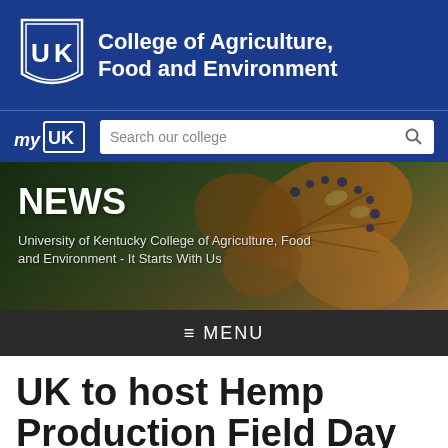College of Agriculture, Food and Environment
[Figure (logo): University of Kentucky shield logo in white on blue background]
[Figure (screenshot): Website navigation header with myUK logo and search bar reading 'Search our college']
[Figure (photo): Hero banner with monarch butterfly on flower, overlaid with NEWS heading and subtitle text]
NEWS
University of Kentucky College of Agriculture, Food and Environment - It Starts With Us
≡ MENU
UK to host Hemp Production Field Day Aug. 21